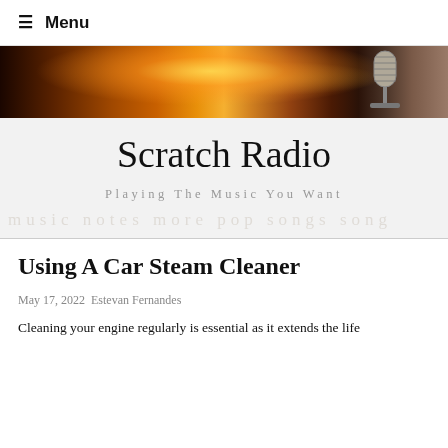≡ Menu
[Figure (photo): A banner photograph showing stage lights with warm orange/amber bokeh and a vintage microphone on the right side against a dark background.]
Scratch Radio
Playing The Music You Want
Using A Car Steam Cleaner
May 17, 2022 Estevan Fernandes
Cleaning your engine regularly is essential as it extends the life